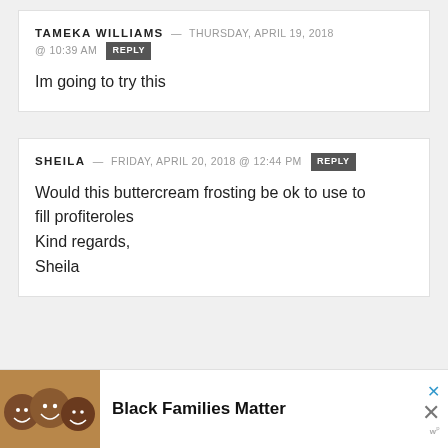TAMEKA WILLIAMS — THURSDAY, APRIL 19, 2018 @ 10:39 AM REPLY
Im going to try this
SHEILA — FRIDAY, APRIL 20, 2018 @ 12:44 PM REPLY
Would this buttercream frosting be ok to use to fill profiteroles
Kind regards,
Sheila
[Figure (photo): Photo of three people/family members smiling, part of a Black Families Matter advertisement]
Black Families Matter